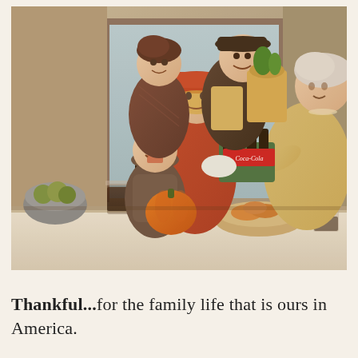[Figure (photo): A vintage 1950s-1960s Coca-Cola advertisement photograph showing a multigenerational family arriving home for Thanksgiving. A grandmother in a yellow dress welcomes a family at the door. A young girl in an orange coat and hat holds a six-pack of Coca-Cola bottles. A young boy holds a pumpkin. Parents stand in the background in the doorway. A Coca-Cola bottle and glass sit on the table in the foreground along with a bowl of food.]
Thankful...for the family life that is ours in America.